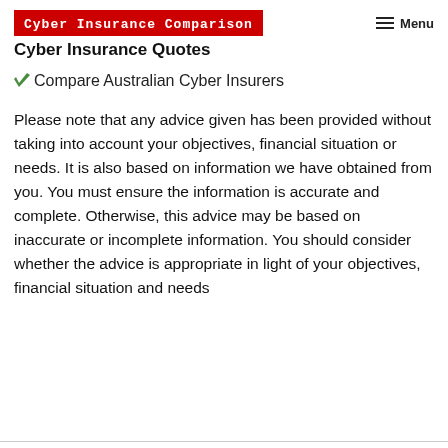Cyber Insurance Comparison
Cyber Insurance Quotes
Compare Australian Cyber Insurers
Please note that any advice given has been provided without taking into account your objectives, financial situation or needs. It is also based on information we have obtained from you. You must ensure the information is accurate and complete. Otherwise, this advice may be based on inaccurate or incomplete information. You should consider whether the advice is appropriate in light of your objectives, financial situation and needs